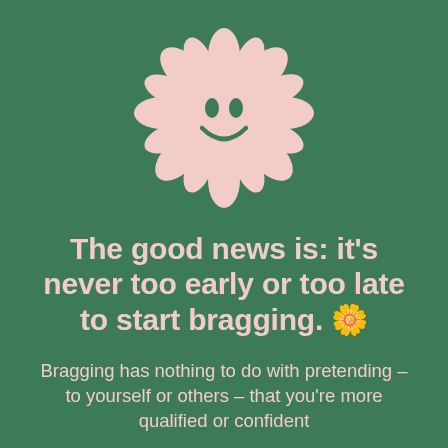[Figure (illustration): Pink smiley face daisy flower illustration on green background]
The good news is: it's never too early or too late to start bragging. 🌼
Bragging has nothing to do with pretending – to yourself or others – that you're more qualified or confident